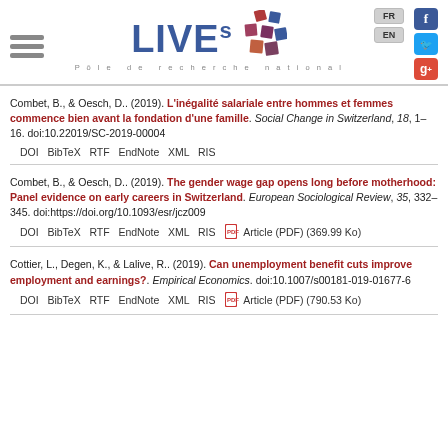[Figure (logo): LIVES Pôle de recherche national logo with colored squares, hamburger menu, FR/EN language buttons, and social media icons (Facebook, Twitter, Google+)]
Combet, B., & Oesch, D.. (2019). L'inégalité salariale entre hommes et femmes commence bien avant la fondation d'une famille. Social Change in Switzerland, 18, 1–16. doi:10.22019/SC-2019-00004
DOI  BibTeX  RTF  EndNote  XML  RIS
Combet, B., & Oesch, D.. (2019). The gender wage gap opens long before motherhood: Panel evidence on early careers in Switzerland. European Sociological Review, 35, 332–345. doi:https://doi.org/10.1093/esr/jcz009
DOI  BibTeX  RTF  EndNote  XML  RIS  Article (PDF) (369.99 Ko)
Cottier, L., Degen, K., & Lalive, R.. (2019). Can unemployment benefit cuts improve employment and earnings?. Empirical Economics. doi:10.1007/s00181-019-01677-6
DOI  BibTeX  RTF  EndNote  XML  RIS  Article (PDF) (790.53 Ko)